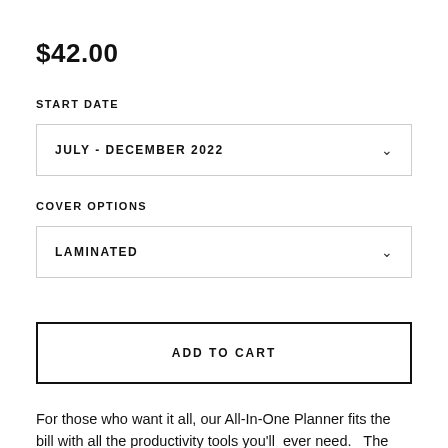$42.00
START DATE
JULY - DECEMBER 2022
COVER OPTIONS
LAMINATED
ADD TO CART
For those who want it all, our All-In-One Planner fits the bill with all the productivity tools you'll ever need. The All-In-One Planner comes with individual Daily pages as well as two-page Weekly and two-page Monthly calendar spreads,